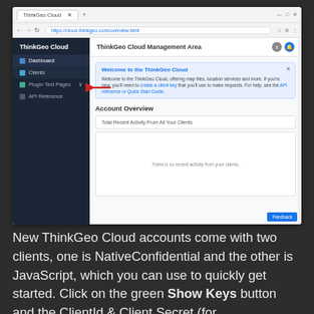[Figure (screenshot): Browser screenshot of ThinkGeo Cloud Management Area showing the dashboard with sidebar navigation (Dashboard, Clients, Plugin Test Pages, API Reference), a welcome banner, and Account Overview section with 'Total Recent Activity From All Your Clients' and a Feedback button. A red arrow points to the 'Clients' menu item.]
New ThinkGeo Cloud accounts come with two clients, one is NativeConfidential and the other is JavaScript, which you can use to quickly get started. Click on the green Show Keys button and the ClientId & Client Secret (for NativeConfidential Key) or JavaScript API Key (for